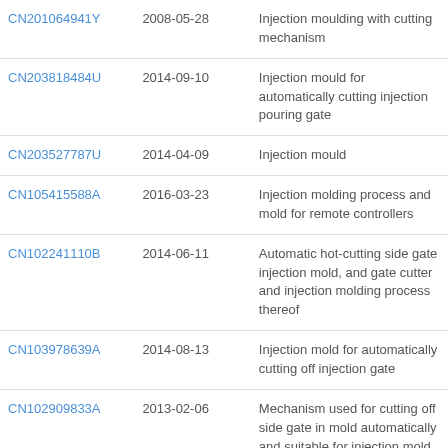| CN201064941Y | 2008-05-28 | Injection moulding with cutting mechanism |
| CN203818484U | 2014-09-10 | Injection mould for automatically cutting injection pouring gate |
| CN203527787U | 2014-04-09 | Injection mould |
| CN105415588A | 2016-03-23 | Injection molding process and mold for remote controllers |
| CN102241110B | 2014-06-11 | Automatic hot-cutting side gate injection mold, and gate cutter and injection molding process thereof |
| CN103978639A | 2014-08-13 | Injection mold for automatically cutting off injection gate |
| CN102909833A | 2013-02-06 | Mechanism used for cutting off side gate in mold automatically and suitable for injection mold |